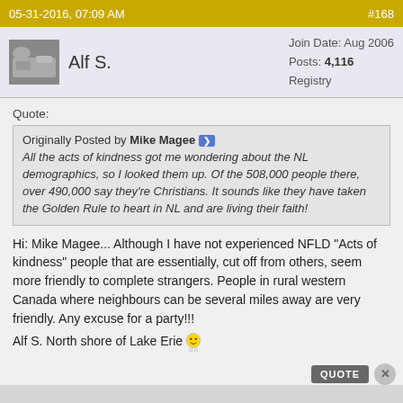05-31-2016, 07:09 AM   #168
Alf S.   Join Date: Aug 2006  Posts: 4,116  Registry
Quote:
Originally Posted by Mike Magee
All the acts of kindness got me wondering about the NL demographics, so I looked them up. Of the 508,000 people there, over 490,000 say they're Christians. It sounds like they have taken the Golden Rule to heart in NL and are living their faith!
Hi: Mike Magee... Although I have not experienced NFLD "Acts of kindness" people that are essentially, cut off from others, seem more friendly to complete strangers. People in rural western Canada where neighbours can be several miles away are very friendly. Any excuse for a party!!!
Alf S. North shore of Lake Erie